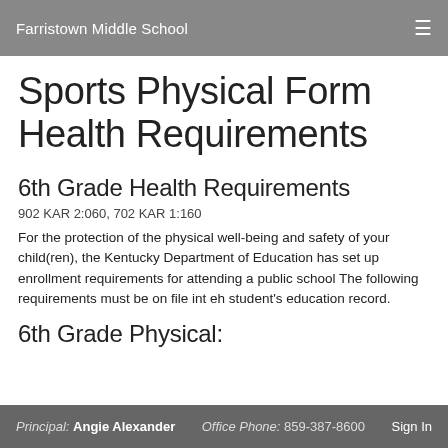Farristown Middle School
Sports Physical Form Health Requirements
6th Grade Health Requirements
902 KAR 2:060, 702 KAR 1:160
For the protection of the physical well-being and safety of your child(ren), the Kentucky Department of Education has set up enrollment requirements for attending a public school The following requirements must be on file int eh student's education record.
6th Grade Physical:
Principal: Angie Alexander   Office Phone: 859-387-8600   Sign In